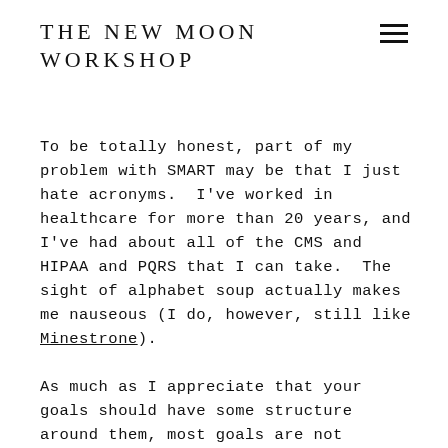THE NEW MOON WORKSHOP
To be totally honest, part of my problem with SMART may be that I just hate acronyms. I've worked in healthcare for more than 20 years, and I've had about all of the CMS and HIPAA and PQRS that I can take. The sight of alphabet soup actually makes me nauseous (I do, however, still like Minestrone).
As much as I appreciate that your goals should have some structure around them, most goals are not pass/fail. If you make a goal to lose 20 pounds, but you only lose 18 by your self-imposed